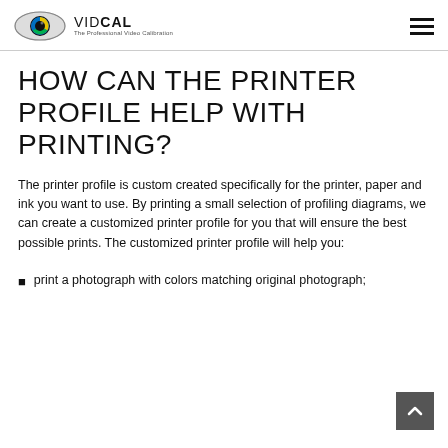VIDCAL — The Professional Video Calibration
HOW CAN THE PRINTER PROFILE HELP WITH PRINTING?
The printer profile is custom created specifically for the printer, paper and ink you want to use. By printing a small selection of profiling diagrams, we can create a customized printer profile for you that will ensure the best possible prints. The customized printer profile will help you:
print a photograph with colors matching original photograph;